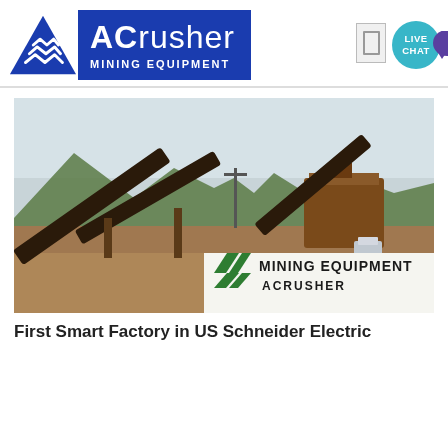[Figure (logo): ACrusher Mining Equipment logo with blue triangle and blue banner]
[Figure (photo): Outdoor mining equipment site with large crushers, conveyor belts, mountains in background. Bottom right has MINING EQUIPMENT ACRUSHER watermark with green diagonal stripes logo.]
First Smart Factory in US Schneider Electric